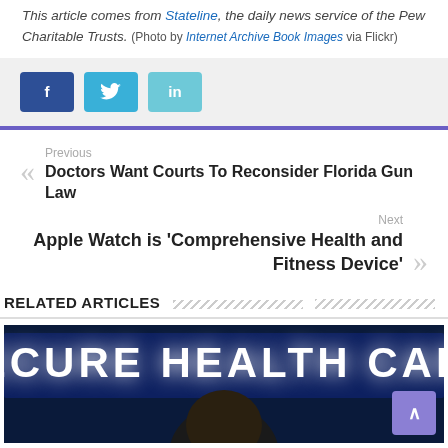This article comes from Stateline, the daily news service of the Pew Charitable Trusts. (Photo by Internet Archive Book Images via Flickr)
[Figure (other): Social share buttons: Facebook (f), Twitter (bird icon), LinkedIn (in)]
Previous
Doctors Want Courts To Reconsider Florida Gun Law
Next
Apple Watch is 'Comprehensive Health and Fitness Device'
RELATED ARTICLES
[Figure (photo): Photo showing a person in front of a sign reading 'SECURE HEALTH CARE' in large illuminated letters on a dark background]